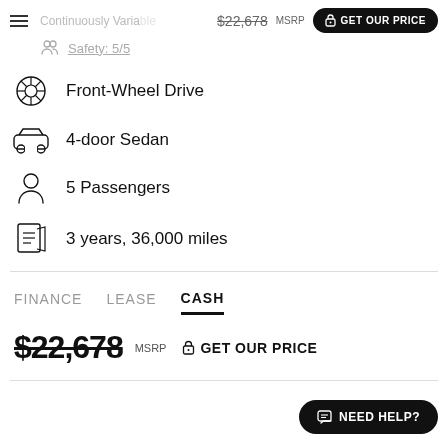Continuously Variable $22,678 MSRP GET OUR PRICE
Safety: 5/5
Front-Wheel Drive
4-door Sedan
5 Passengers
3 years, 36,000 miles
FINANCE  LEASE  CASH
$22,678 MSRP  GET OUR PRICE
NEED HELP?